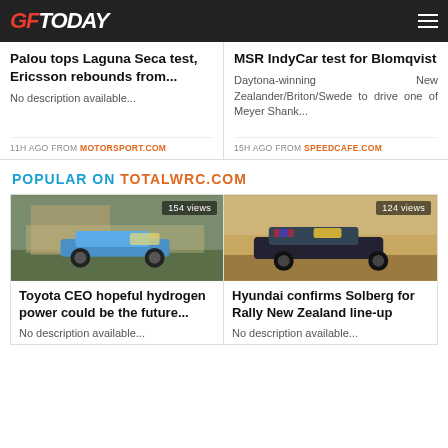GFToday
Palou tops Laguna Seca test, Ericsson rebounds from...
No description available...
11H AGO FROM MOTORSPORT.COM
MSR IndyCar test for Blomqvist
Daytona-winning New Zealander/Briton/Swede to drive one of Meyer Shank...
15H AGO FROM SPEEDCAFE.COM
POPULAR ON TOTALWRC.COM
[Figure (photo): Rally car (Toyota) driving past a building, 154 views badge]
Toyota CEO hopeful hydrogen power could be the future...
No description available...
[Figure (photo): Hyundai rally car on a gravel road, 124 views badge]
Hyundai confirms Solberg for Rally New Zealand line-up
No description available...